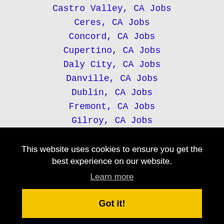Castro Valley, CA Jobs
Ceres, CA Jobs
Concord, CA Jobs
Cupertino, CA Jobs
Daly City, CA Jobs
Danville, CA Jobs
Dublin, CA Jobs
Fremont, CA Jobs
Gilroy, CA Jobs
Hayward, CA Jobs
This website uses cookies to ensure you get the best experience on our website.
Learn more
Got it!
Newark, CA Jobs